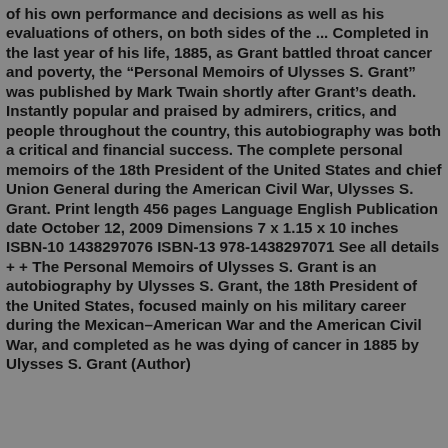of his own performance and decisions as well as his evaluations of others, on both sides of the ... Completed in the last year of his life, 1885, as Grant battled throat cancer and poverty, the “Personal Memoirs of Ulysses S. Grant” was published by Mark Twain shortly after Grant’s death. Instantly popular and praised by admirers, critics, and people throughout the country, this autobiography was both a critical and financial success. The complete personal memoirs of the 18th President of the United States and chief Union General during the American Civil War, Ulysses S. Grant. Print length 456 pages Language English Publication date October 12, 2009 Dimensions 7 x 1.15 x 10 inches ISBN-10 1438297076 ISBN-13 978-1438297071 See all details + + The Personal Memoirs of Ulysses S. Grant is an autobiography by Ulysses S. Grant, the 18th President of the United States, focused mainly on his military career during the Mexican–American War and the American Civil War, and completed as he was dying of cancer in 1885 by Ulysses S. Grant (Author)